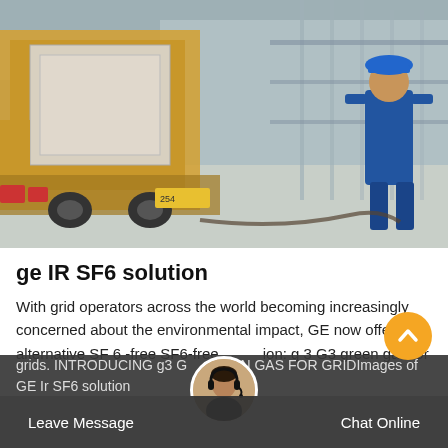[Figure (photo): Industrial facility interior showing a large yellow truck or equipment carrier being unloaded or positioned inside a hall, with a worker in blue coveralls and blue hard hat standing to the right. Concrete floor, metal piping and structural elements visible in background.]
ge IR SF6 solution
With grid operators across the world becoming increasingly concerned about the environmental impact, GE now offers an alternative SF 6 -free SF6-free solution: g 3 G3 green gas for grids. INTRODUCING g3 GREEN GAS FOR GRIDImages of GE Ir SF6 solution
Leave Message   Chat Online